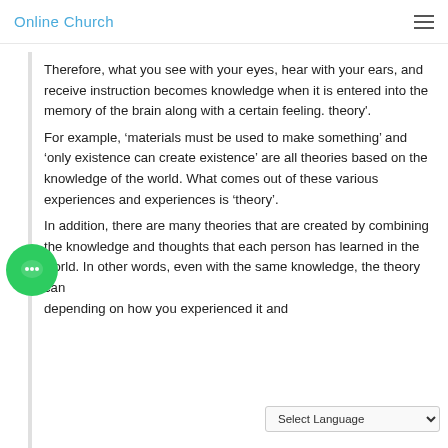Online Church
Therefore, what you see with your eyes, hear with your ears, and receive instruction becomes knowledge when it is entered into the memory of the brain along with a certain feeling. theory'.
For example, ‘materials must be used to make something’ and ‘only existence can create existence’ are all theories based on the knowledge of the world. What comes out of these various experiences and experiences is ‘theory’.
In addition, there are many theories that are created by combining the knowledge and thoughts that each person has learned in the world. In other words, even with the same knowledge, the theory can be different depending on how you experienced it and